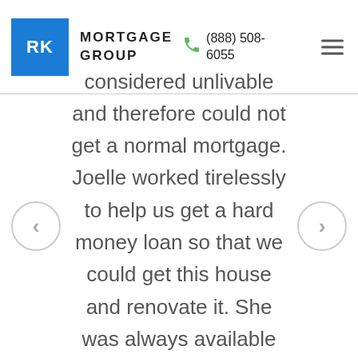RK MORTGAGE GROUP (888) 508-6055
considered unlivable and therefore could not get a normal mortgage. Joelle worked tirelessly to help us get a hard money loan so that we could get this house and renovate it. She was always available either immediately or